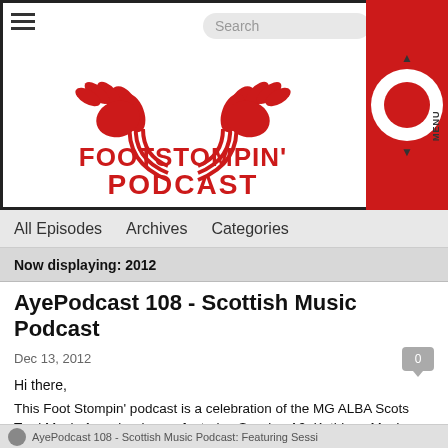[Figure (logo): Footstompin' Podcast logo with two red hands forming a circle above the text FOOTSTOMPIN' PODCAST in red bold letters, on white background, inside a tablet/screen bezel. Right side shows a red iPod-like device with scroll wheel and MENU label.]
All Episodes   Archives   Categories
Now displaying: 2012
AyePodcast 108 - Scottish Music Podcast
Dec 13, 2012
Hi there,
This Foot Stompin' podcast is a celebration of the MG ALBA Scots Trad Music Awards winners featuring Session A9, Kathleen MacInnes, Paul McKenna Band, Breabach, Duncan Chisholm and Julie Fowlis. It was a great night on Saturday 8th December with some brilliant music.
Visit www.footstompin.com for all your Scottish music and culture needs.
AyePodcast 108 - Scottish Music Podcast: Featuring Sessi